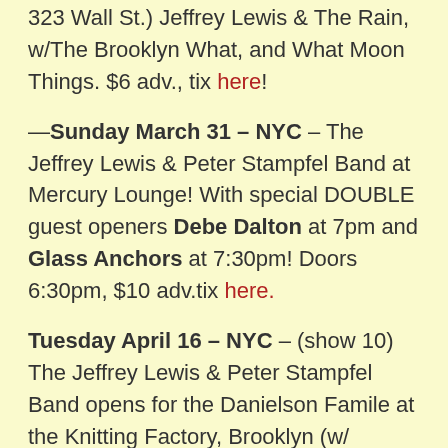...March 29 – Kingston, NY – (BSP Lounge, 323 Wall St.) Jeffrey Lewis & The Rain, w/The Brooklyn What, and What Moon Things. $6 adv., tix here!
—Sunday March 31 – NYC – The Jeffrey Lewis & Peter Stampfel Band at Mercury Lounge! With special DOUBLE guest openers Debe Dalton at 7pm and Glass Anchors at 7:30pm! Doors 6:30pm, $10 adv.tix here.
Tuesday April 16 – NYC – (show 10) The Jeffrey Lewis & Peter Stampfel Band opens for the Danielson Famile at the Knitting Factory, Brooklyn (w/ Welcome Wagon as first band of the night).
—-